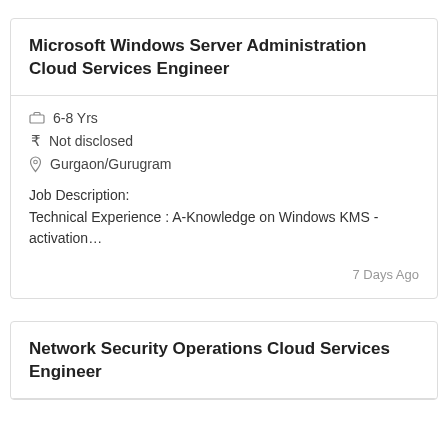Microsoft Windows Server Administration Cloud Services Engineer
6-8 Yrs
₹ Not disclosed
Gurgaon/Gurugram
Job Description:
Technical Experience : A-Knowledge on Windows KMS - activation…
7 Days Ago
Network Security Operations Cloud Services Engineer